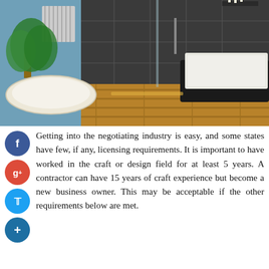[Figure (photo): Modern luxury bathroom interior with dark grey tile walls, a freestanding white oval bathtub on wooden flooring, a built-in rectangular bathtub on the right, glass shower partition, and a potted green plant on the left with blue wall background.]
Getting into the negotiating industry is easy, and some states have few, if any, licensing requirements. It is important to have worked in the craft or design field for at least 5 years. A contractor can have 15 years of craft experience but become a new business owner. This may be acceptable if the other requirements below are met.